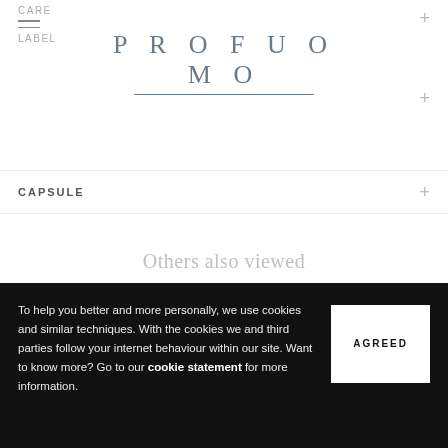CARE
LABEL
PROFUOMO
CAPSULE
Others also viewed
[Figure (other): Loading spinner SVG overlay on product image of a white shirt]
To help you better and more personally, we use cookies and similar techniques. With the cookies we and third parties follow your internet behaviour within our site. Want to know more? Go to our cookie statement for more information.